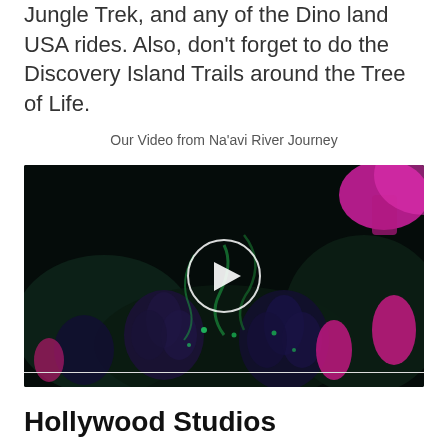Jungle Trek, and any of the Dino land USA rides. Also, don't forget to do the Discovery Island Trails around the Tree of Life.
Our Video from Na'avi River Journey
[Figure (screenshot): Dark video thumbnail of Na'avi River Journey ride with bioluminescent alien plants and a circular play button overlay in the center]
Hollywood Studios